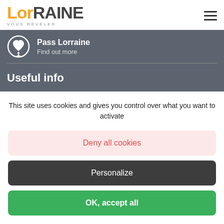[Figure (logo): Lorraine logo with orange text 'LorRAINE' and tagline 'VOUS RÉVÉLER']
Pass Lorraine
Find out more
Useful info
This site uses cookies and gives you control over what you want to activate
Deny all cookies
Personalize
OK, accept all